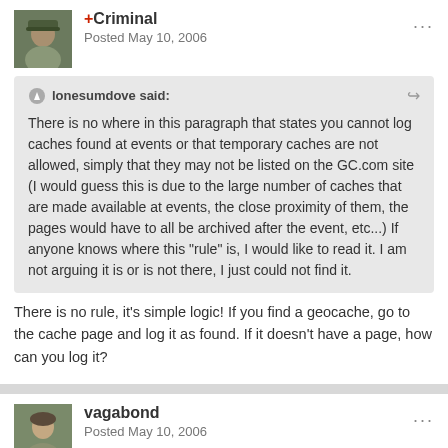+Criminal
Posted May 10, 2006
lonesumdove said:
There is no where in this paragraph that states you cannot log caches found at events or that temporary caches are not allowed, simply that they may not be listed on the GC.com site (I would guess this is due to the large number of caches that are made available at events, the close proximity of them, the pages would have to all be archived after the event, etc...) If anyone knows where this "rule" is, I would like to read it. I am not arguing it is or is not there, I just could not find it.
There is no rule, it's simple logic! If you find a geocache, go to the cache page and log it as found. If it doesn't have a page, how can you log it?
vagabond
Posted May 10, 2006